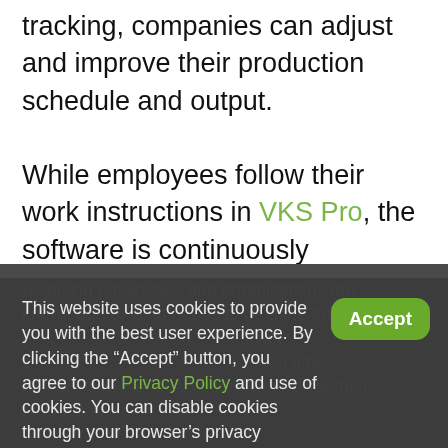tracking, companies can adjust and improve their production schedule and output.

While employees follow their work instructions in VKS Pro, the software is continuously recording useful data and preparing the basis for incorporating better supply chain solutions. This gives manufacturers the opportunity to tailor the best systems and practices according to their needs and challenges.
By giving employees and organizations the knowledge of what needs to be done and w... n... ctively c... ction times and achieve the ideal circumstances for their production.
This website uses cookies to provide you with the best user experience. By clicking the “Accept” button, you agree to our Privacy Policy and use of cookies. You can disable cookies through your browser’s privacy settings.